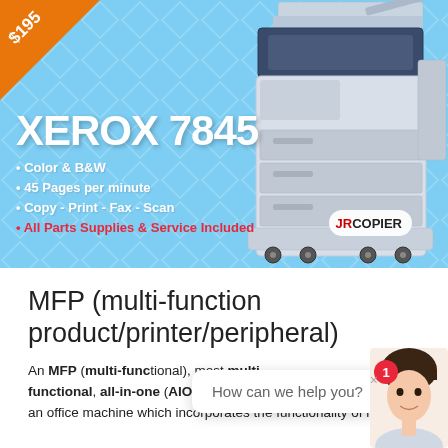[Figure (infographic): Advertisement banner for Xerox 7845 copier. Light blue background with diamond pattern. Orange price tag triangle in top-left corner showing '$195'. Large Xerox 7845 copier machine image on right side. White text 'XEROX 7845' as title. Bullet points listing features: Color & B&W, 45 Pages per minute, Copy - Print - Fax - Scan. Red bullet: All Parts Supplies & Service Included. JRCopier logo badge on machine.]
MFP (multi-function product/printer/peripheral)
An MFP (multi-func[tional, also called multi-functional, all-in-one (AIO), or multi-function device (MFD),] an office machine which incorporates the functionality of multiple
[Figure (screenshot): Chat widget overlay showing 'How can we help you?' message bubble. Red notification badge with number 1. Female agent avatar photo on right. Close X button in top right.]